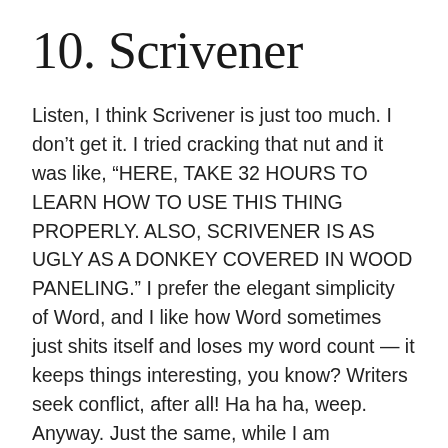10. Scrivener
Listen, I think Scrivener is just too much. I don't get it. I tried cracking that nut and it was like, “HERE, TAKE 32 HOURS TO LEARN HOW TO USE THIS THING PROPERLY. ALSO, SCRIVENER IS AS UGLY AS A DONKEY COVERED IN WOOD PANELING.” I prefer the elegant simplicity of Word, and I like how Word sometimes just shits itself and loses my word count — it keeps things interesting, you know? Writers seek conflict, after all! Ha ha ha, weep. Anyway. Just the same, while I am personally too “old-man-get-off-my-lawn” about Scrivener, I know a lot of writers who utterly adore it, and so — why